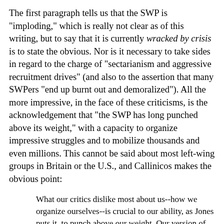The first paragraph tells us that the SWP is "imploding," which is really not clear as of this writing, but to say that it is currently wracked by crisis is to state the obvious. Nor is it necessary to take sides in regard to the charge of "sectarianism and aggressive recruitment drives" (and also to the assertion that many SWPers "end up burnt out and demoralized"). All the more impressive, in the face of these criticisms, is the acknowledgement that "the SWP has long punched above its weight," with a capacity to organize impressive struggles and to mobilize thousands and even millions. This cannot be said about most left-wing groups in Britain or the U.S., and Callinicos makes the obvious point:
What our critics dislike most about us--how we organize ourselves--is crucial to our ability, as Jones puts it, to punch above our weight. Our version of democratic centralism comes down to two things. First, decisions must be debated